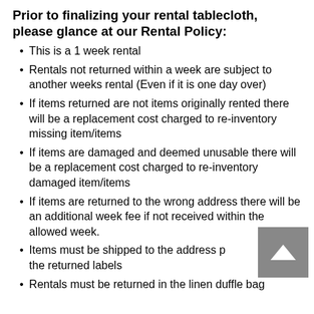Prior to finalizing your rental tablecloth, please glance at our Rental Policy:
This is a 1 week rental
Rentals not returned within a week are subject to another weeks rental (Even if it is one day over)
If items returned are not items originally rented there will be a replacement cost charged to re-inventory missing item/items
If items are damaged and deemed unusable there will be a replacement cost charged to re-inventory damaged item/items
If items are returned to the wrong address there will be an additional week fee if not received within the allowed week.
Items must be shipped to the address provided with the returned labels
Rentals must be returned in the linen duffle bag